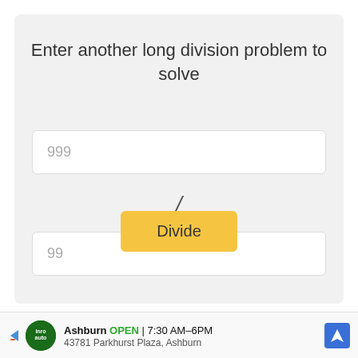Enter another long division problem to solve
999
/
99
Divide
Ashburn  OPEN  7:30 AM–6PM  43781 Parkhurst Plaza, Ashburn